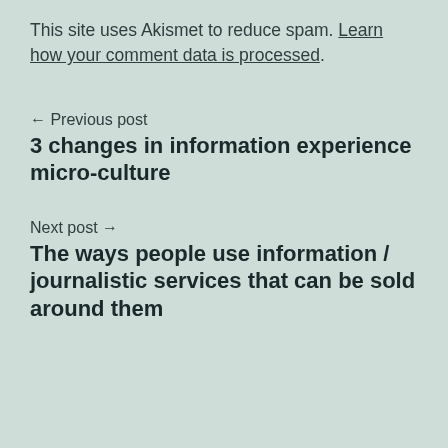This site uses Akismet to reduce spam. Learn how your comment data is processed.
← Previous post
3 changes in information experience micro-culture
Next post →
The ways people use information / journalistic services that can be sold around them